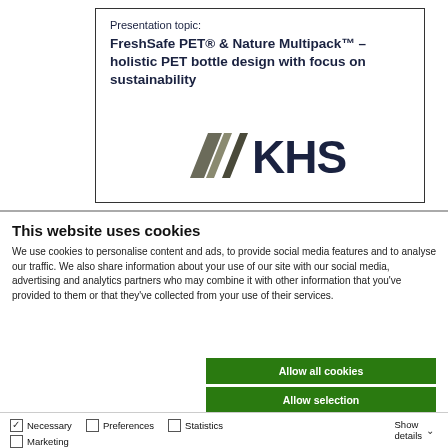Presentation topic: FreshSafe PET® & Nature Multipack™ – holistic PET bottle design with focus on sustainability
[Figure (logo): KHS company logo with diagonal stripe graphic element and KHS text]
This website uses cookies
We use cookies to personalise content and ads, to provide social media features and to analyse our traffic. We also share information about your use of our site with our social media, advertising and analytics partners who may combine it with other information that you've provided to them or that they've collected from your use of their services.
Allow all cookies
Allow selection
Use necessary cookies only
Necessary | Preferences | Statistics | Marketing | Show details